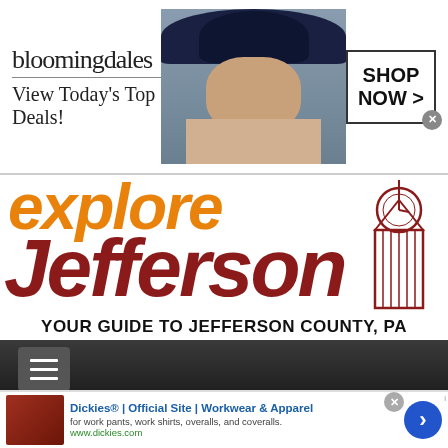[Figure (screenshot): Bloomingdales advertisement banner: logo, 'View Today's Top Deals!' tagline, fashion model with wide-brim hat, 'SHOP NOW >' button]
[Figure (logo): Explore Jefferson County PA website header with orange 'explore' text, dark red 'Jefferson' text, clock tower illustration, and tagline 'YOUR GUIDE TO JEFFERSON COUNTY, PA']
[Figure (screenshot): Dark navigation bar with hamburger menu icon]
[Figure (screenshot): Nationwide Insurance advertisement: N logo with bird, blue panel with 'For your always growing side.' text, green field farm photo]
[Figure (screenshot): Dickies advertisement: 'Dickies® | Official Site | Workwear & Apparel', 'for work pants, work shirts, overalls, and coveralls.', www.dickies.com, red product image, blue arrow button]